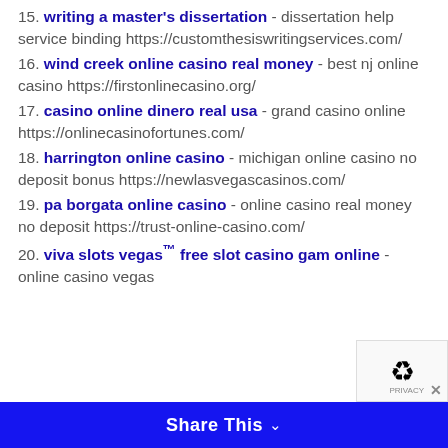15. writing a master's dissertation - dissertation help service binding https://customthesiswritingservices.com/
16. wind creek online casino real money - best nj online casino https://firstonlinecasino.org/
17. casino online dinero real usa - grand casino online https://onlinecasinofortunes.com/
18. harrington online casino - michigan online casino no deposit bonus https://newlasvegascasinos.com/
19. pa borgata online casino - online casino real money no deposit https://trust-online-casino.com/
20. viva slots vegas™ free slot casino gam online - online casino vegas